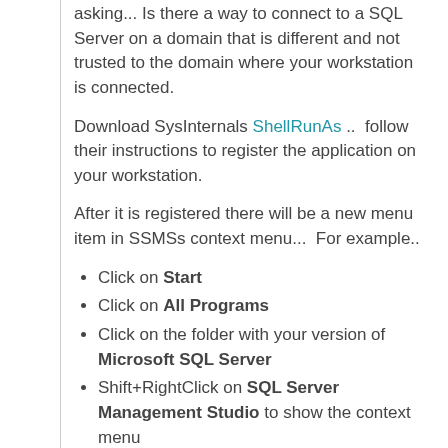asking... Is there a way to connect to a SQL Server on a domain that is different and not trusted to the domain where your workstation is connected.
Download SysInternals ShellRunAs ..  follow their instructions to register the application on your workstation.
After it is registered there will be a new menu item in SSMSs context menu...  For example..
Click on Start
Click on All Programs
Click on the folder with your version of Microsoft SQL Server
Shift+RightClick on SQL Server Management Studio to show the context menu